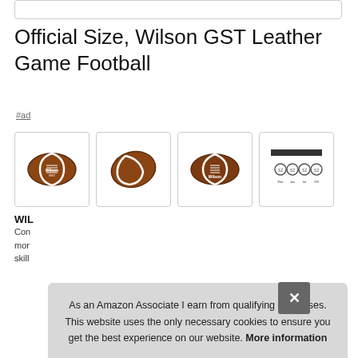Official Size, Wilson GST Leather Game Football
#ad
[Figure (photo): Four product thumbnail images of Wilson GST football and size chart]
WIL
Con
mor
skill
As an Amazon Associate I earn from qualifying purchases. This website uses the only necessary cookies to ensure you get the best experience on our website. More information